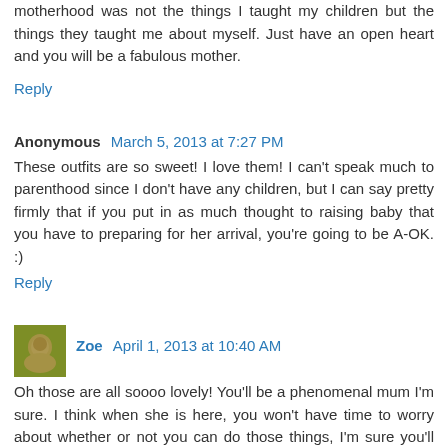motherhood was not the things I taught my children but the things they taught me about myself. Just have an open heart and you will be a fabulous mother.
Reply
Anonymous  March 5, 2013 at 7:27 PM
These outfits are so sweet! I love them! I can't speak much to parenthood since I don't have any children, but I can say pretty firmly that if you put in as much thought to raising baby that you have to preparing for her arrival, you're going to be A-OK. :)
Reply
Zoe  April 1, 2013 at 10:40 AM
Oh those are all soooo lovely! You'll be a phenomenal mum I'm sure. I think when she is here, you won't have time to worry about whether or not you can do those things, I'm sure you'll just be doing them. xxx
Reply